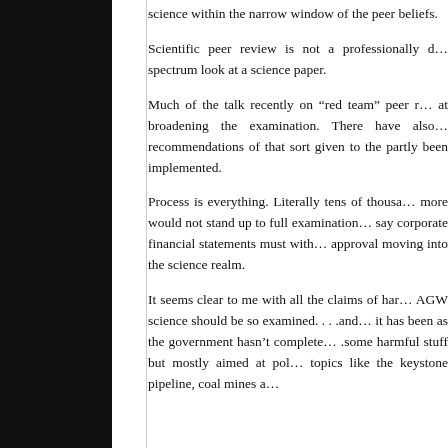science within the narrow window of the peer beliefs.
Scientific peer review is not a professionally d… spectrum look at a science paper.
Much of the talk recently on “red team” peer r… at broadening the examination. There have also… recommendations of that sort given to the… partly been implemented.
Process is everything. Literally tens of thousa… more would not stand up to full examination… say corporate financial statements must with… approval moving into the science realm.
It seems clear to me with all the claims of har… AGW science should be so examined. . . .and… it has been as the government hasn’t complete… .some harmful stuff but mostly aimed at pol… topics like the keystone pipeline, coal mines a…